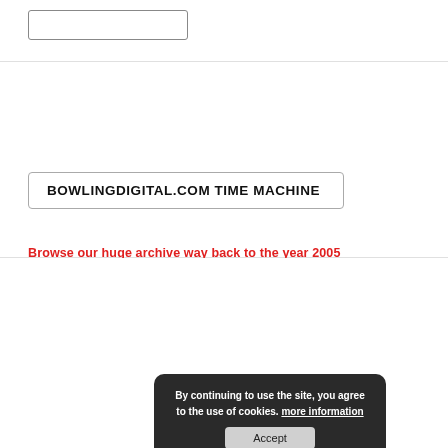BOWLINGDIGITAL.COM TIME MACHINE
Browse our huge archive way back to the year 2005
UPCOMING EVENTS
AUGUST, 2022
SORT OPTIONS
All Events
By continuing to use the site, you agree to the use of cookies. more information
Accept